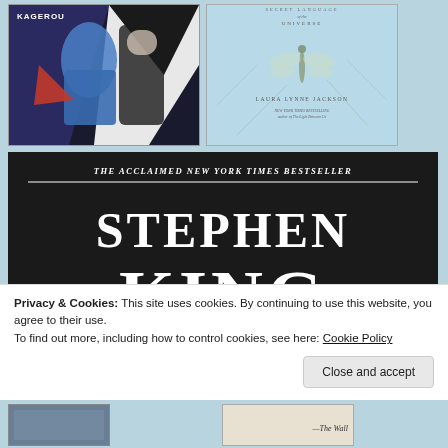[Figure (illustration): Book cover for Kagerou featuring stylized anime-style characters in blue dress and tuxedo with geometric design elements in red, white, black and blue]
[Figure (illustration): Book cover for 'The Secret Language of the Universe' by Laura Lynne Jackson, light blue cover with dragonfly illustration, labeled New York Times Bestselling author of The Light Between Us]
[Figure (illustration): Book cover banner showing 'THE ACCLAIMED NEW YORK TIMES BESTSELLER' above large text 'STEPHEN KING' on dark background]
Privacy & Cookies: This site uses cookies. By continuing to use this website, you agree to their use.
To find out more, including how to control cookies, see here: Cookie Policy
Close and accept
[Figure (illustration): Partial book cover visible at bottom left, dark tones]
[Figure (illustration): Partial book cover visible at bottom right with text '—The Wall']